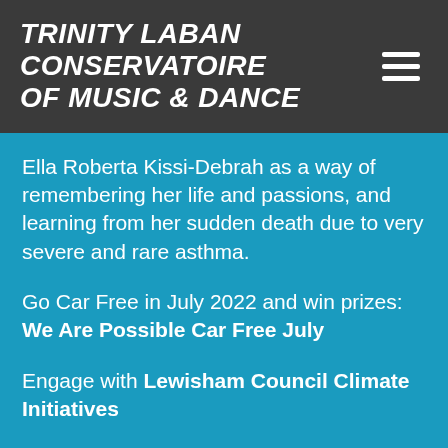TRINITY LABAN CONSERVATOIRE OF MUSIC & DANCE
Ella Roberta Kissi-Debrah as a way of remembering her life and passions, and learning from her sudden death due to very severe and rare asthma.
Go Car Free in July 2022 and win prizes: We Are Possible Car Free July
Engage with Lewisham Council Climate Initiatives
Get involved with and explore resources from: Climate Museum UK – Mobile museum for the climate emergency